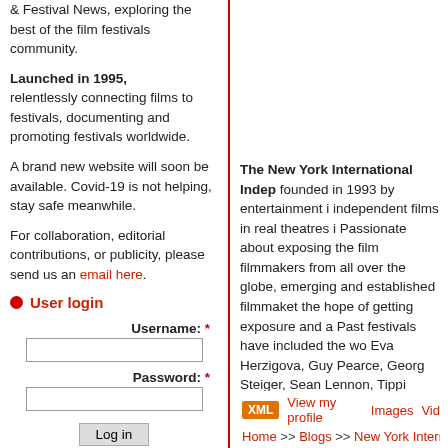& Festival News, exploring the best of the film festivals community.
Launched in 1995, relentlessly connecting films to festivals, documenting and promoting festivals worldwide.
A brand new website will soon be available. Covid-19 is not helping, stay safe meanwhile.
For collaboration, editorial contributions, or publicity, please send us an email here.
User login
Username: *
Password: *
Log in
Create new account
Request new password
The New York International Indep founded in 1993 by entertainment i independent films in real theatres i Passionate about exposing the film filmmakers from all over the globe, emerging and established filmmaket the hope of getting exposure and a Past festivals have included the wo Eva Herzigova, Guy Pearce, Georg Steiger, Sean Lennon, Tippi Hedre guru Abel Ferrara famously quoted deal: Everybody else just talks abou
XML  View my profile  Images  Vid
Home >> Blogs >> New York Internationa